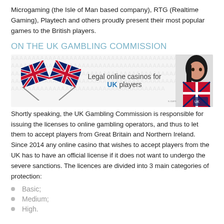Microgaming (the Isle of Man based company), RTG (Realtime Gaming), Playtech and others proudly present their most popular games to the British players.
ON THE UK GAMBLING COMMISSION
[Figure (illustration): Banner image showing two crossed UK flags on the left, text 'Legal online casinos for UK players' in the center, and a woman in a UK-themed outfit on the right, with a watermark pattern in the background.]
Shortly speaking, the UK Gambling Commission is responsible for issuing the licenses to online gambling operators, and thus to let them to accept players from Great Britain and Northern Ireland. Since 2014 any online casino that wishes to accept players from the UK has to have an official license if it does not want to undergo the severe sanctions. The licences are divided into 3 main categories of protection:
Basic;
Medium;
High.